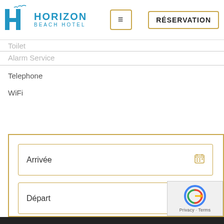Horizon Beach Hotel - Navigation header with logo, hamburger menu, and RÉSERVATION button
Toilet
Alarm Service
Telephone
WiFi
[Figure (screenshot): Hotel reservation form with Arrivée, Départ, and 1 Chambre input fields with calendar icons, enclosed in a gold border box]
Arrivée
Départ
1 Chambre